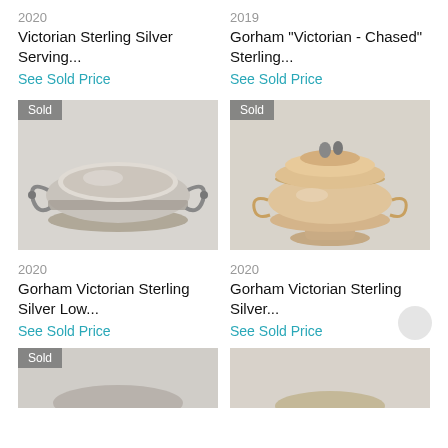2020
Victorian Sterling Silver Serving...
See Sold Price
2019
Gorham "Victorian - Chased" Sterling...
See Sold Price
[Figure (photo): Victorian sterling silver serving dish/bowl with handles, silver colored, with Sold badge]
[Figure (photo): Gorham Victorian chased sterling silver lidded tureen with figural finial, gold/silver colored, with Sold badge]
2020
Gorham Victorian Sterling Silver Low...
See Sold Price
2020
Gorham Victorian Sterling Silver...
See Sold Price
[Figure (photo): Partial view of another silver item at bottom left, with Sold badge]
[Figure (photo): Partial view of another silver item at bottom right]